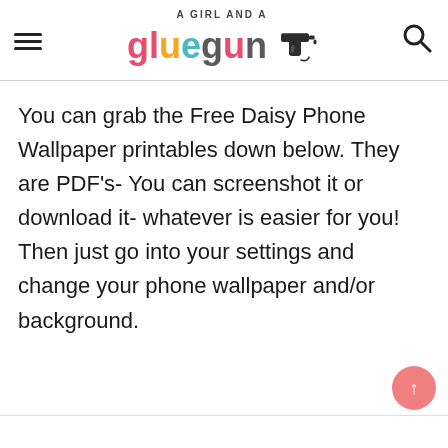A GIRL AND A gluegun [logo with glue gun icon]
You can grab the Free Daisy Phone Wallpaper printables down below. They are PDF's- You can screenshot it or download it- whatever is easier for you! Then just go into your settings and change your phone wallpaper and/or background.